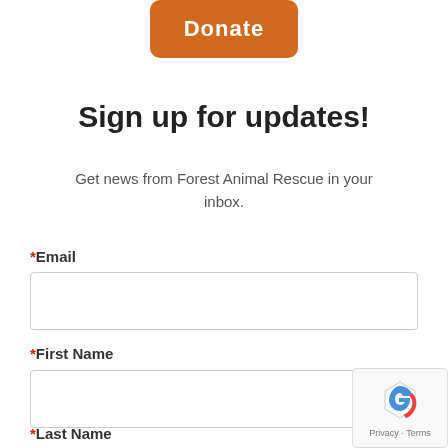[Figure (other): Orange rounded Donate button at the top of the page]
Sign up for updates!
Get news from Forest Animal Rescue in your inbox.
*Email
*First Name
*Last Name